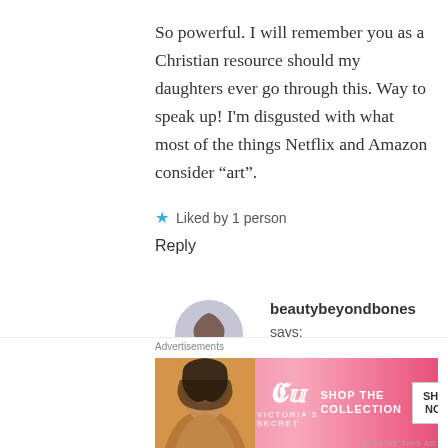So powerful. I will remember you as a Christian resource should my daughters ever go through this. Way to speak up! I'm disgusted with what most of the things Netflix and Amazon consider “art”.
Liked by 1 person
Reply
[Figure (photo): Avatar photo of beautybeyondbones user, a woman with long hair]
beautybeyondbones says: June 22, 2017 at 6:20 pm
Gosh, thank you so much. I am
[Figure (photo): Victoria's Secret advertisement banner showing a woman and SHOP THE COLLECTION / SHOP NOW call to action]